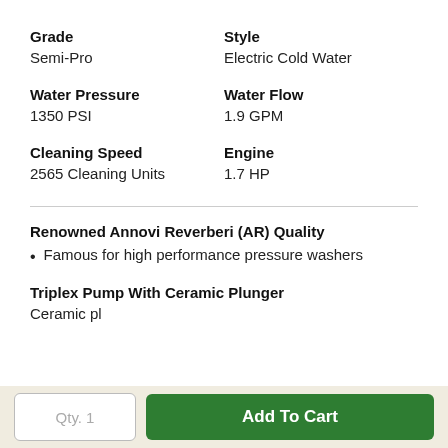| Grade | Style | Water Pressure | Water Flow | Cleaning Speed | Engine |
| --- | --- | --- | --- | --- | --- |
| Semi-Pro | Electric Cold Water |
| 1350 PSI | 1.9 GPM |
| 2565 Cleaning Units | 1.7 HP |
Renowned Annovi Reverberi (AR) Quality
Famous for high performance pressure washers
Triplex Pump With Ceramic Plunger
Qty. 1
Add To Cart